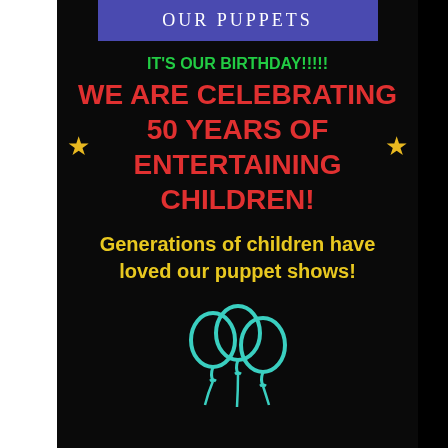OUR PUPPETS
IT'S OUR BIRTHDAY!!!!!
WE ARE CELEBRATING 50 YEARS OF ENTERTAINING CHILDREN!
Generations of children have loved our puppet shows!
[Figure (illustration): Teal outline icon of three balloons with strings]